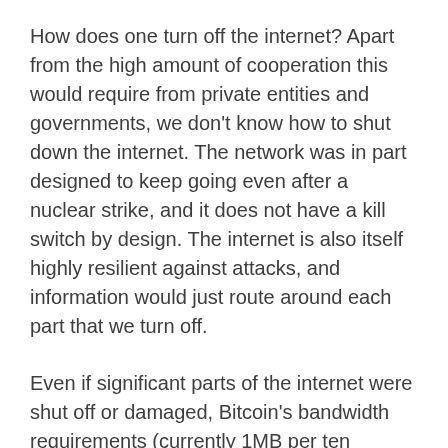How does one turn off the internet? Apart from the high amount of cooperation this would require from private entities and governments, we don't know how to shut down the internet. The network was in part designed to keep going even after a nuclear strike, and it does not have a kill switch by design. The internet is also itself highly resilient against attacks, and information would just route around each part that we turn off.
Even if significant parts of the internet were shut off or damaged, Bitcoin's bandwidth requirements (currently 1MB per ten minutes at a minimum) might be small enough to broadcast over radio waves, or the telephone system successfully.
On top of that, would any organization really want to turn the internet off? The internet has many other uses, like sending cat photos. The economic damage from turning